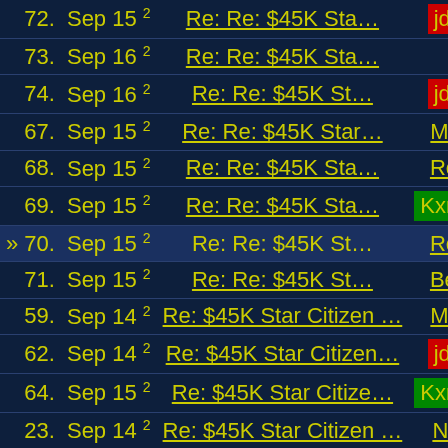| # | Date | Subject | Author |
| --- | --- | --- | --- |
| 72. | Sep 15 2 | Re: Re: $45K Sta… | jdreyer |
| 73. | Sep 16 2 | Re: Re: $45K Sta… | Prez |
| 74. | Sep 16 2 | Re: Re: $45K St… | jdreyer |
| 67. | Sep 15 2 | Re: Re: $45K Star… | Mr. Tact |
| 68. | Sep 15 2 | Re: Re: $45K Sta… | RedE… |
| 69. | Sep 15 2 | Re: Re: $45K Sta… | Kxmode |
| » 70. | Sep 15 2 | Re: Re: $45K St… | RedE… |
| 71. | Sep 15 2 | Re: Re: $45K St… | Beamer |
| 59. | Sep 14 2 | Re: $45K Star Citizen … | Mr. Tact |
| 62. | Sep 14 2 | Re: $45K Star Citizen… | jdreyer |
| 64. | Sep 15 2 | Re: $45K Star Citize… | Kxmode |
| 23. | Sep 14 2 | Re: $45K Star Citizen … | Nega… |
| 29. | Sep 14 2 | Re: $45K Star Citizen … | grudg… |
| 30. | Sep 14 2 | Re: $45K Star Citizen… | hstar |